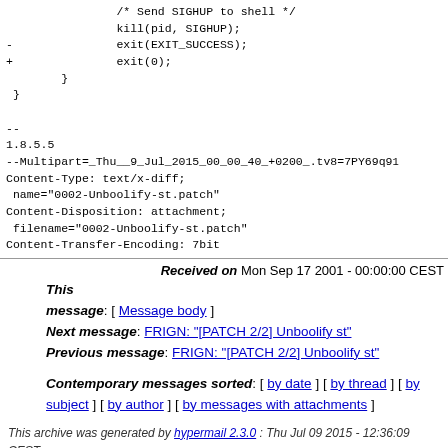/* Send SIGHUP to shell */
kill(pid, SIGHUP);
-                exit(EXIT_SUCCESS);
+                exit(0);
        }
 }
--
1.8.5.5
--Multipart=_Thu__9_Jul_2015_00_00_40_+0200_.tv8=7PY69q9
Content-Type: text/x-diff;
 name="0002-Unboolify-st.patch"
Content-Disposition: attachment;
 filename="0002-Unboolify-st.patch"
Content-Transfer-Encoding: 7bit
Received on Mon Sep 17 2001 - 00:00:00 CEST
This
message: [ Message body ]
Next message: FRIGN: "[PATCH 2/2] Unboolify st"
Previous message: FRIGN: "[PATCH 2/2] Unboolify st"
Contemporary messages sorted: [ by date ] [ by thread ] [ by subject ] [ by author ] [ by messages with attachments ]
This archive was generated by hypermail 2.3.0 : Thu Jul 09 2015 - 12:36:09 CEST